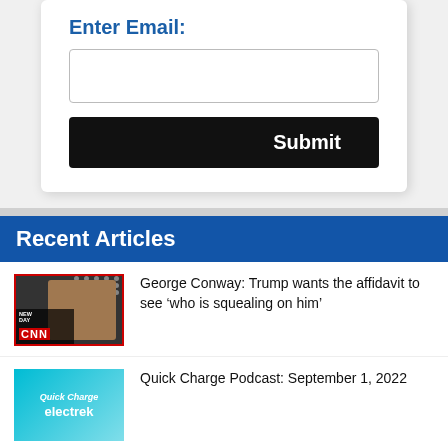Enter Email:
[Figure (screenshot): Email input field (text box)]
[Figure (screenshot): Submit button, black, white text]
Recent Articles
George Conway: Trump wants the affidavit to see ‘who is squealing on him’
Quick Charge Podcast: September 1, 2022
Russia’s energy influence over Europe ‘is nearly